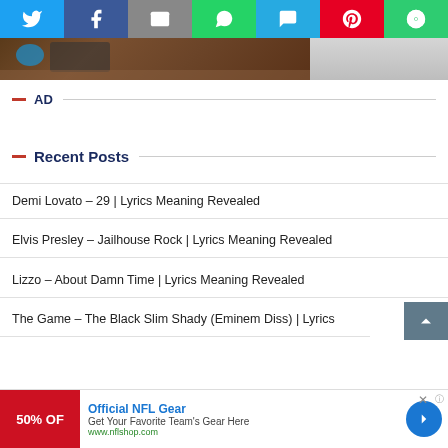[Figure (screenshot): Social media share bar with icons for Twitter, Facebook, Email, WhatsApp, SMS, Pinterest, and More]
[Figure (photo): Partial photo of items on a wooden table including headphones and a box, top portion visible]
AD
Recent Posts
Demi Lovato – 29 | Lyrics Meaning Revealed
Elvis Presley – Jailhouse Rock | Lyrics Meaning Revealed
Lizzo – About Damn Time | Lyrics Meaning Revealed
The Game – The Black Slim Shady (Eminem Diss) | Lyrics
[Figure (screenshot): Ad banner: Official NFL Gear - 50% Off, Get Your Favorite Team's Gear Here, www.nflshop.com]